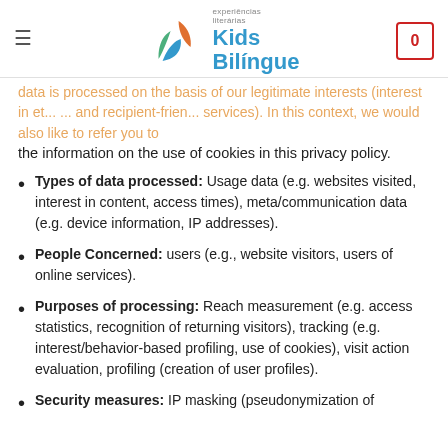Kids Bilingue — experiências literárias
data is processed on the basis of our legitimate interests (interest in etc. ... and recipient-friendly ... services). In this context, we would also like to refer you to the information on the use of cookies in this privacy policy.
Types of data processed: Usage data (e.g. websites visited, interest in content, access times), meta/communication data (e.g. device information, IP addresses).
People Concerned: users (e.g., website visitors, users of online services).
Purposes of processing: Reach measurement (e.g. access statistics, recognition of returning visitors), tracking (e.g. interest/behavior-based profiling, use of cookies), visit action evaluation, profiling (creation of user profiles).
Security measures: IP masking (pseudonymization of